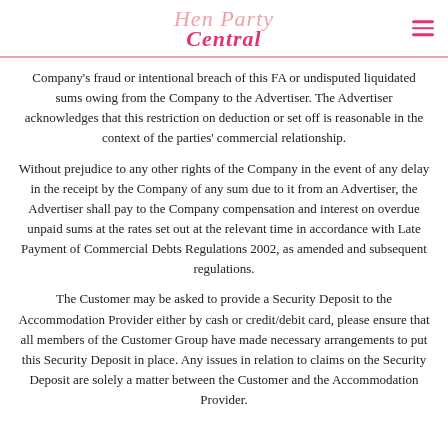Hen Party Central
Company's fraud or intentional breach of this FA or undisputed liquidated sums owing from the Company to the Advertiser. The Advertiser acknowledges that this restriction on deduction or set off is reasonable in the context of the parties' commercial relationship.
Without prejudice to any other rights of the Company in the event of any delay in the receipt by the Company of any sum due to it from an Advertiser, the Advertiser shall pay to the Company compensation and interest on overdue unpaid sums at the rates set out at the relevant time in accordance with Late Payment of Commercial Debts Regulations 2002, as amended and subsequent regulations.
The Customer may be asked to provide a Security Deposit to the Accommodation Provider either by cash or credit/debit card, please ensure that all members of the Customer Group have made necessary arrangements to put this Security Deposit in place. Any issues in relation to claims on the Security Deposit are solely a matter between the Customer and the Accommodation Provider.